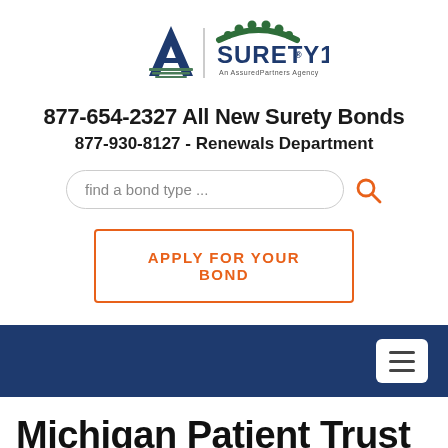[Figure (logo): Surety1 logo with an A-shaped mark and green arch above the text, 'An AssuredPartners Agency' tagline]
877-654-2327 All New Surety Bonds
877-930-8127 - Renewals Department
[Figure (other): Search input field with placeholder 'find a bond type ...' and an orange search magnifying glass icon]
APPLY FOR YOUR BOND
Navigation bar (dark blue) with white hamburger menu button
Michigan Patient Trust Bond